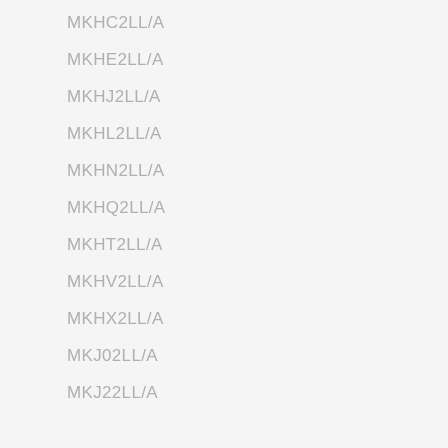MKHC2LL/A
MKHE2LL/A
MKHJ2LL/A
MKHL2LL/A
MKHN2LL/A
MKHQ2LL/A
MKHT2LL/A
MKHV2LL/A
MKHX2LL/A
MKJ02LL/A
MKJ22LL/A